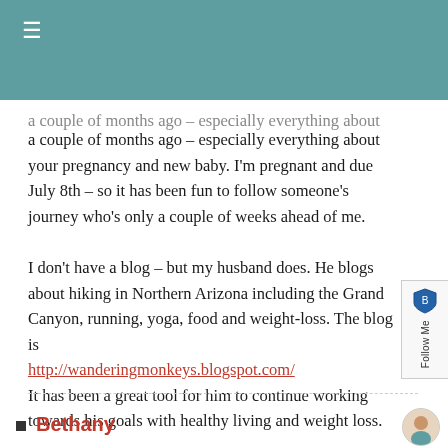≡ (hamburger menu icon)
a couple of months ago – especially everything about your pregnancy and new baby. I'm pregnant and due July 8th – so it has been fun to follow someone's journey who's only a couple of weeks ahead of me.
I don't have a blog – but my husband does. He blogs about hiking in Northern Arizona including the Grand Canyon, running, yoga, food and weight-loss. The blog is http://wanderingmonkeys.blogspot.com/ It has been a great tool for him to continue working towards his goals with healthy living and weight loss.
Bethany